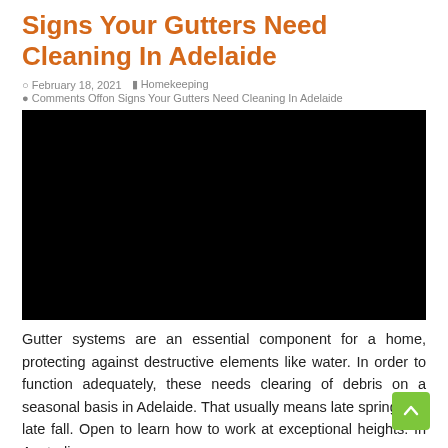Signs Your Gutters Need Cleaning In Adelaide
February 18, 2021   Homekeeping
Comments Offon Signs Your Gutters Need Cleaning In Adelaide
[Figure (photo): Black/dark image placeholder - embedded video or image block]
Gutter systems are an essential component for a home, protecting against destructive elements like water. In order to function adequately, these needs clearing of debris on a seasonal basis in Adelaide. That usually means late spring and late fall. Open to learn how to work at exceptional heights. In Australia, …